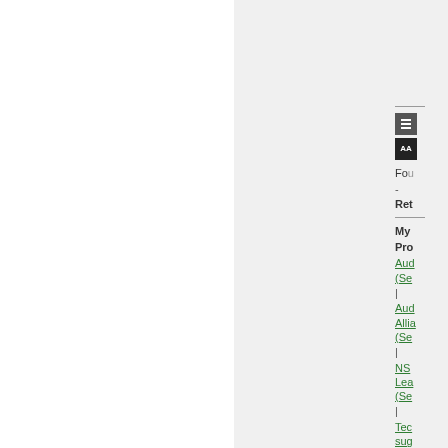[Figure (screenshot): Partial webpage screenshot showing a sidebar navigation panel on the right side with icons, links and menu items including Fon, Ret, My Pro, Aud (Se, Aud Allia (Se, NS Lea (Se, Tec sug, Abc me]
Fo...
Ret...
My Pro
Aud (Se
Aud Allia (Se
NS Lea (Se
Tec sug
Abc me